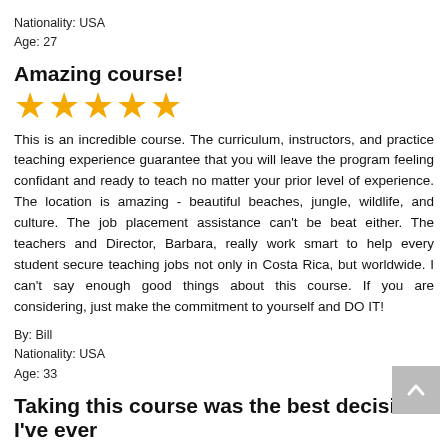Nationality: USA
Age: 27
Amazing course!
[Figure (other): Five gold star rating icons]
This is an incredible course. The curriculum, instructors, and practice teaching experience guarantee that you will leave the program feeling confidant and ready to teach no matter your prior level of experience. The location is amazing - beautiful beaches, jungle, wildlife, and culture. The job placement assistance can't be beat either. The teachers and Director, Barbara, really work smart to help every student secure teaching jobs not only in Costa Rica, but worldwide. I can't say enough good things about this course. If you are considering, just make the commitment to yourself and DO IT!
By: Bill
Nationality: USA
Age: 33
Taking this course was the best decision I've ever